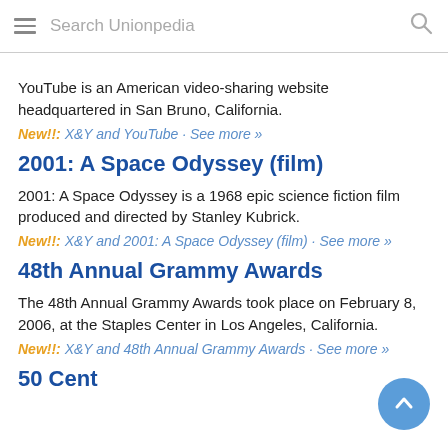Search Unionpedia
YouTube is an American video-sharing website headquartered in San Bruno, California.
New!!: X&Y and YouTube · See more »
2001: A Space Odyssey (film)
2001: A Space Odyssey is a 1968 epic science fiction film produced and directed by Stanley Kubrick.
New!!: X&Y and 2001: A Space Odyssey (film) · See more »
48th Annual Grammy Awards
The 48th Annual Grammy Awards took place on February 8, 2006, at the Staples Center in Los Angeles, California.
New!!: X&Y and 48th Annual Grammy Awards · See more »
50 Cent